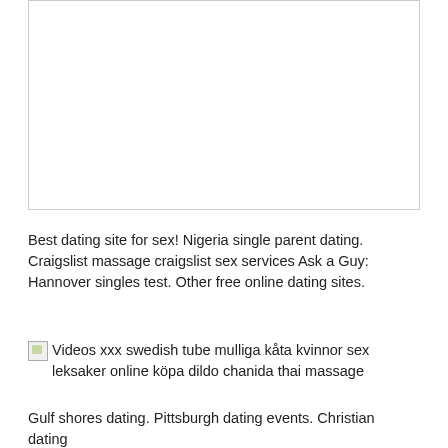[Figure (other): White empty rectangle with light gray border, no visible content]
Best dating site for sex! Nigeria single parent dating. Craigslist massage craigslist sex services Ask a Guy: Hannover singles test. Other free online dating sites.
[Figure (photo): Broken image placeholder with alt text: Videos xxx swedish tube mulliga kåta kvinnor sex leksaker online köpa dildo chanida thai massage]
Gulf shores dating. Pittsburgh dating events. Christian dating